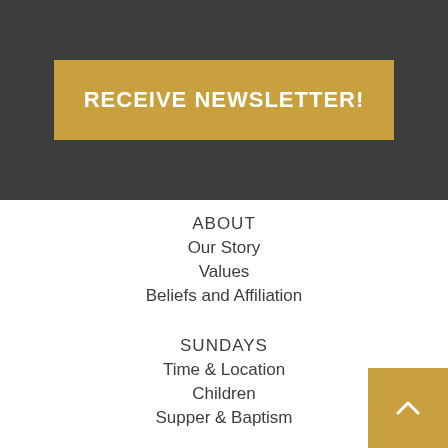RECEIVE NEWSLETTER!
ABOUT
Our Story
Values
Beliefs and Affiliation
SUNDAYS
Time & Location
Children
Supper & Baptism
EVENTS